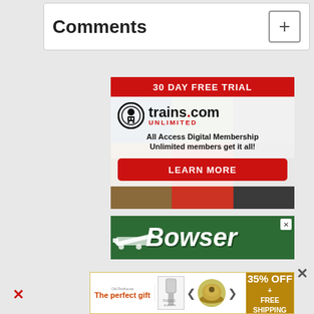Comments
[Figure (advertisement): trains.com Unlimited ad: 30 DAY FREE TRIAL banner, trains.com logo with train icon, UNLIMITED text in red, All Access Digital Membership - Unlimited members get it all!, LEARN MORE red button]
[Figure (advertisement): Bowser brand advertisement on dark green background with white stylized train silhouette and Bowser text in large italic white letters, X close button]
[Figure (advertisement): Bottom banner ad: The perfect gift, 35% OFF + FREE SHIPPING, with navigation arrows and food/dish imagery]